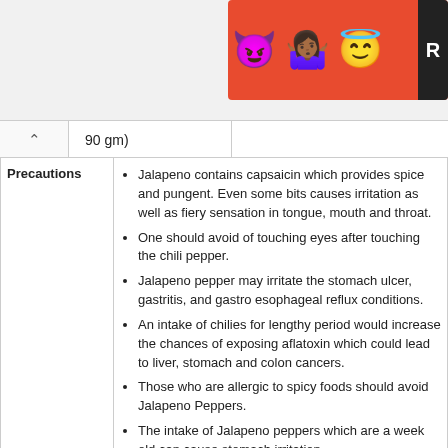[Figure (illustration): Banner advertisement showing emoji characters: purple devil, woman with arms raised (medium-dark skin), and halo smiley face on red/orange background, with partial letter R visible on right edge]
90 gm)
|  |  |
| --- | --- |
| Precautions | • Jalapeno contains capsaicin which provides spice and pungent. Even some bits causes irritation as well as fiery sensation in tongue, mouth and throat.
• One should avoid of touching eyes after touching the chili pepper.
• Jalapeno pepper may irritate the stomach ulcer, gastritis, and gastro esophageal reflux conditions.
• An intake of chilies for lengthy period would increase the chances of exposing aflatoxin which could lead to liver, stomach and colon cancers.
• Those who are allergic to spicy foods should avoid Jalapeno Peppers.
• The intake of Jalapeno peppers which are a week old can cause stomach irritation. |
| How to Eat | • Jalapeno pepper is excellent for sauces, salsa, |